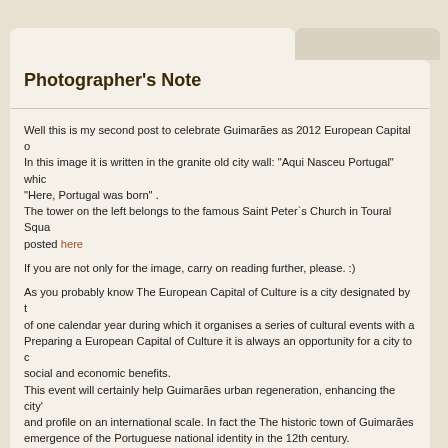Photographer's Note
Well this is my second post to celebrate Guimarães as 2012 European Capital of Culture. In this image it is written in the granite old city wall: "Aqui Nasceu Portugal" which means "Here, Portugal was born" .
The tower on the left belongs to the famous Saint Peter`s Church in Toural Square posted here
If you are not only for the image, carry on reading further, please. :)
As you probably know The European Capital of Culture is a city designated by the EU for a period of one calendar year during which it organises a series of cultural events with a strong European dimension. Preparing a European Capital of Culture it is always an opportunity for a city to develop cultural, social and economic benefits.
This event will certainly help Guimarães urban regeneration, enhancing the city's cultural identity and profile on an international scale. In fact the The historic town of Guimarães is associated with the emergence of the Portuguese national identity in the 12th century.
An exceptionally well-preserved and authentic example of the evolution of a medieval settlement into a town, its rich building typology exemplifies the specific development of Portuguese architecture from the 19th century through the consistent use of traditional building materials and techniques.
Thank You.
Model - NIKON D700
ExposureTime - 1/100 seconds
FNumber - 10.00
ExposureProgram - Manual control
DateTimeOriginal - 2012-08-09 18:46:12